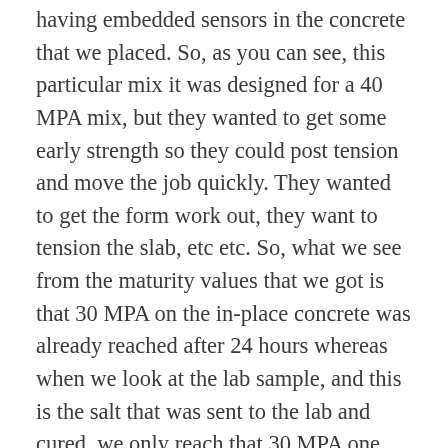having embedded sensors in the concrete that we placed. So, as you can see, this particular mix it was designed for a 40 MPA mix, but they wanted to get some early strength so they could post tension and move the job quickly. They wanted to get the form work out, they want to tension the slab, etc etc. So, what we see from the maturity values that we got is that 30 MPA on the in-place concrete was already reached after 24 hours whereas when we look at the lab sample, and this is the salt that was sent to the lab and cured, we only reach that 30 MPA one day later, a full 24 hours later. And the last sample, if you had to think about it; where do you think the field cured sample would be? If you thought it would be in between you are correct, so of course the field code sample is a little bit closer to